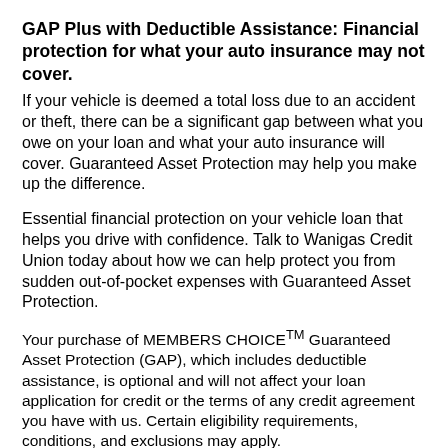GAP Plus with Deductible Assistance: Financial protection for what your auto insurance may not cover.
If your vehicle is deemed a total loss due to an accident or theft, there can be a significant gap between what you owe on your loan and what your auto insurance will cover. Guaranteed Asset Protection may help you make up the difference.
Essential financial protection on your vehicle loan that helps you drive with confidence. Talk to Wanigas Credit Union today about how we can help protect you from sudden out-of-pocket expenses with Guaranteed Asset Protection.
Your purchase of MEMBERS CHOICETM Guaranteed Asset Protection (GAP), which includes deductible assistance, is optional and will not affect your loan application for credit or the terms of any credit agreement you have with us. Certain eligibility requirements, conditions, and exclusions may apply.